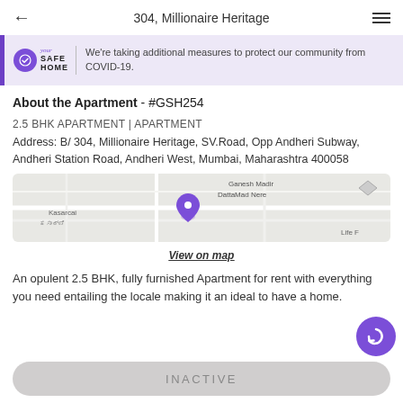304, Millionaire Heritage
[Figure (infographic): COVID-19 safety banner with Your Safe Home logo and text: We're taking additional measures to protect our community from COVID-19.]
About the Apartment - #GSH254
2.5 BHK APARTMENT | APARTMENT
Address: B/ 304, Millionaire Heritage, SV.Road, Opp Andheri Subway, Andheri Station Road, Andheri West, Mumbai, Maharashtra 400058
[Figure (map): Map showing location of B/304 Millionaire Heritage near Kasarcai and Ganesh Madir DattaMad Nere area with a purple pin marker.]
View on map
An opulent 2.5 BHK, fully furnished Apartment for rent with everything you need entailing the locale making it an ideal to have a home.
INACTIVE